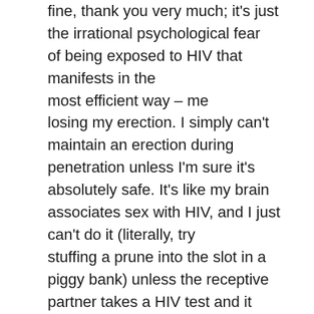fine, thank you very much; it's just the irrational psychological fear of being exposed to HIV that manifests in the most efficient way – me losing my erection. I simply can't maintain an erection during penetration unless I'm sure it's absolutely safe. It's like my brain associates sex with HIV, and I just can't do it (literally, try stuffing a prune into the slot in a piggy bank) unless the receptive partner takes a HIV test and it comes out negative.

I usually go for HIV tests every 3 months. That might seem like irrational behavior since I don't engage in high